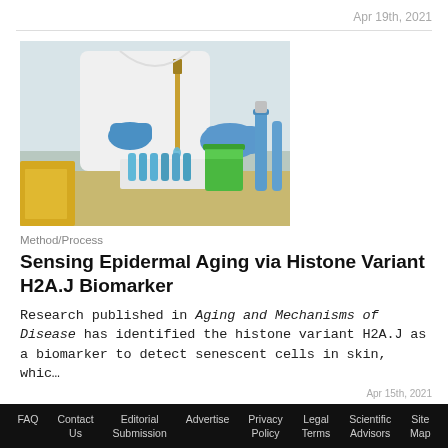Apr 19th, 2021
[Figure (photo): Laboratory researcher in white coat and blue gloves using a pipette to fill small test tubes, with green liquid in a beaker and other lab equipment on the bench.]
Method/Process
Sensing Epidermal Aging via Histone Variant H2A.J Biomarker
Research published in Aging and Mechanisms of Disease has identified the histone variant H2A.J as a biomarker to detect senescent cells in skin, whic…
FAQ  Contact Us  Editorial Submission  Advertise  Privacy Policy  Legal Terms  Scientific Advisors  Site Map